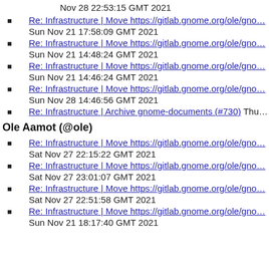Nov 28 22:53:15 GMT 2021
Re: Infrastructure | Move https://gitlab.gnome.org/ole/gno…
Sun Nov 21 17:58:09 GMT 2021
Re: Infrastructure | Move https://gitlab.gnome.org/ole/gno…
Sun Nov 21 14:48:24 GMT 2021
Re: Infrastructure | Move https://gitlab.gnome.org/ole/gno…
Sun Nov 21 14:46:24 GMT 2021
Re: Infrastructure | Move https://gitlab.gnome.org/ole/gno…
Sun Nov 28 14:46:56 GMT 2021
Re: Infrastructure | Archive gnome-documents (#730) Thu…
Ole Aamot (@ole)
Re: Infrastructure | Move https://gitlab.gnome.org/ole/gno…
Sat Nov 27 22:15:22 GMT 2021
Re: Infrastructure | Move https://gitlab.gnome.org/ole/gno…
Sat Nov 27 23:01:07 GMT 2021
Re: Infrastructure | Move https://gitlab.gnome.org/ole/gno…
Sat Nov 27 22:51:58 GMT 2021
Re: Infrastructure | Move https://gitlab.gnome.org/ole/gno…
Sun Nov 21 18:17:40 GMT 2021